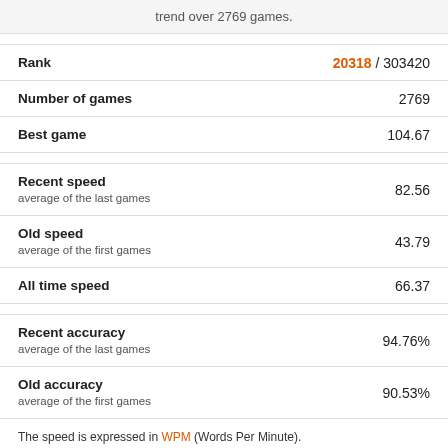trend over 2769 games.
| Metric | Value |
| --- | --- |
| Rank | 20318 / 303420 |
| Number of games | 2769 |
| Best game | 104.67 |
| Recent speed
average of the last games | 82.56 |
| Old speed
average of the first games | 43.79 |
| All time speed | 66.37 |
| Recent accuracy
average of the last games | 94.76% |
| Old accuracy
average of the first games | 90.53% |
The speed is expressed in WPM (Words Per Minute).